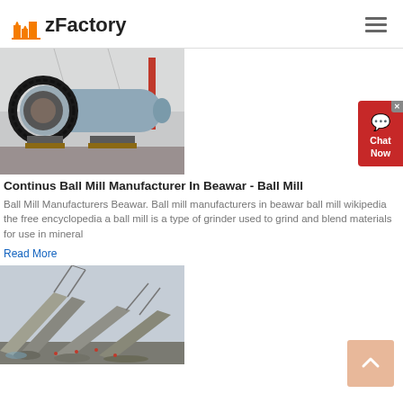zFactory
[Figure (photo): Industrial ball mill machine in a factory warehouse setting, large grey cylindrical machine with a black gear ring on the left side]
Continus Ball Mill Manufacturer In Beawar - Ball Mill
Ball Mill Manufacturers Beawar. Ball mill manufacturers in beawar ball mill wikipedia the free encyclopedia a ball mill is a type of grinder used to grind and blend materials for use in mineral
Read More
[Figure (photo): Outdoor industrial conveyor belt system at a mining or quarry site, showing angled conveyor structures and gravel/stone materials]